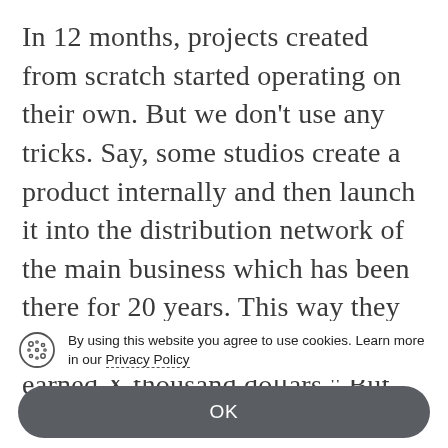In 12 months, projects created from scratch started operating on their own. But we don't use any tricks. Say, some studios create a product internally and then launch it into the distribution network of the main business which has been there for 20 years. This way they can say, “Our new product has earned X thousand dollars.” But we don’t do that. Instead, it’s all about income from ground zero without attracting external capacities, and only with the investment money that the project received (over $1.5 million). By the end of the year, we plan to increase this number
By using this website you agree to use cookies. Learn more in our Privacy Policy
OK